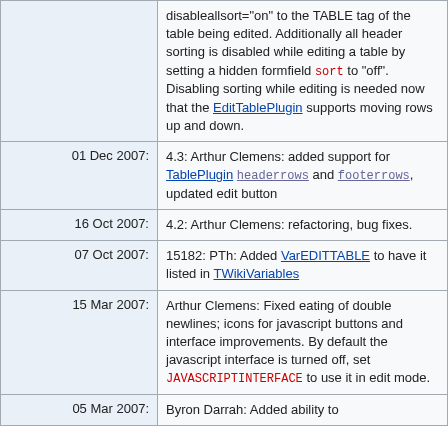| Date | Description |
| --- | --- |
|  | disableallsort="on" to the TABLE tag of the table being edited. Additionally all header sorting is disabled while editing a table by setting a hidden formfield sort to "off". Disabling sorting while editing is needed now that the EditTablePlugin supports moving rows up and down. |
| 01 Dec 2007: | 4.3: Arthur Clemens: added support for TablePlugin headerrows and footerrows, updated edit button |
| 16 Oct 2007: | 4.2: Arthur Clemens: refactoring, bug fixes. |
| 07 Oct 2007: | 15182: PTh: Added VarEDITTABLE to have it listed in TWikiVariables |
| 15 Mar 2007: | Arthur Clemens: Fixed eating of double newlines; icons for javascript buttons and interface improvements. By default the javascript interface is turned off, set JAVASCRIPTINTERFACE to use it in edit mode. |
| 05 Mar 2007: | Byron Darrah: Added ability to |